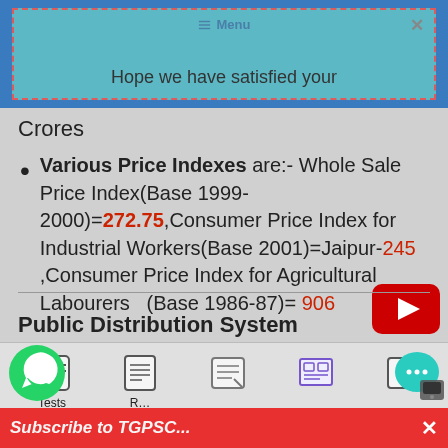Hope we have satisfied your
Crores
Various Price Indexes are:- Whole Sale Price Index(Base 1999-2000)=272.75,Consumer Price Index for Industrial Workers(Base 2001)=Jaipur-245 ,Consumer Price Index for Agricultural Labourers  (Base 1986-87)= 906
Public Distribution System
Tests | R... | (icons) | Subscribe to TGPSC...